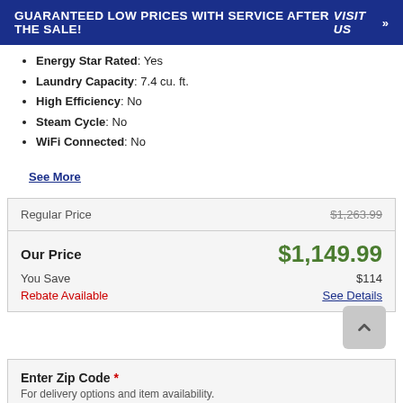GUARANTEED LOW PRICES WITH SERVICE AFTER THE SALE! VISIT US »
Energy Star Rated: Yes
Laundry Capacity: 7.4 cu. ft.
High Efficiency: No
Steam Cycle: No
WiFi Connected: No
See More
|  |  |
| --- | --- |
| Regular Price | $1,263.99 |
| Our Price | $1,149.99 |
| You Save | $114 |
| Rebate Available | See Details |
Enter Zip Code * For delivery options and item availability.